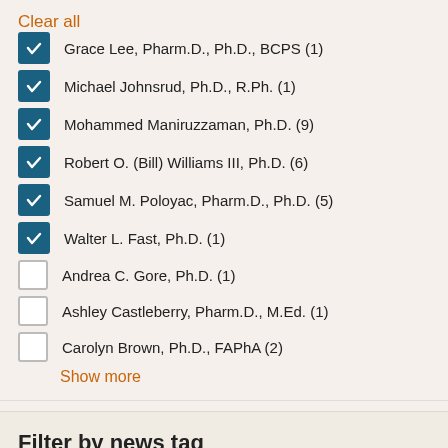Clear all
Grace Lee, Pharm.D., Ph.D., BCPS (1)
Michael Johnsrud, Ph.D., R.Ph. (1)
Mohammed Maniruzzaman, Ph.D. (9)
Robert O. (Bill) Williams III, Ph.D. (6)
Samuel M. Poloyac, Pharm.D., Ph.D. (5)
Walter L. Fast, Ph.D. (1)
Andrea C. Gore, Ph.D. (1)
Ashley Castleberry, Pharm.D., M.Ed. (1)
Carolyn Brown, Ph.D., FAPhA (2)
Show more
Filter by news tag